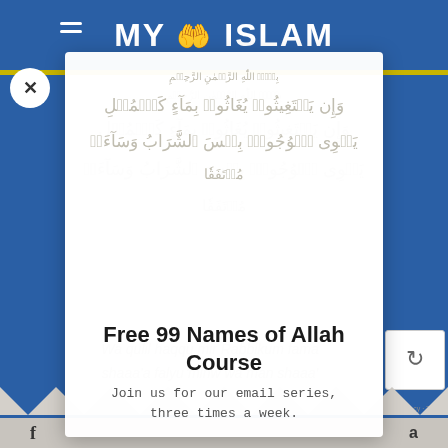MY ISLAM
[Figure (screenshot): Arabic Quran verse text displayed in decorative Arabic calligraphy, faded/watermarked appearance]
Free 99 Names of Allah Course
Join us for our email series, three times a week.
Wa qulil haqqu mir Rabbikum fama shaaa'a falyuʼminw wa man shaaa'
f  a